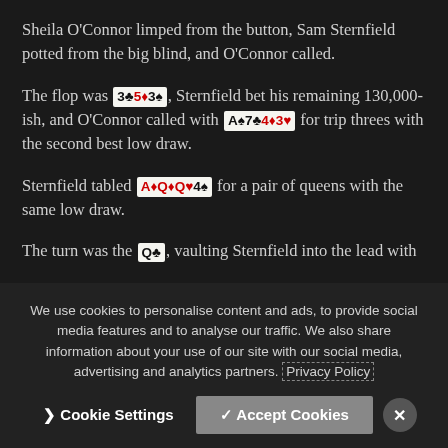Sheila O'Connor limped from the button, Sam Sternfield potted from the big blind, and O'Connor called.
The flop was 3♣ 5♦ 3♠, Sternfield bet his remaining 130,000-ish, and O'Connor called with A♠ 7♣ 4♦ 3♥ for trip threes with the second best low draw.
Sternfield tabled A♦ Q♦ Q♥ 4♠ for a pair of queens with the same low draw.
The turn was the Q♣, vaulting Sternfield into the lead with
We use cookies to personalise content and ads, to provide social media features and to analyse our traffic. We also share information about your use of our site with our social media, advertising and analytics partners. Privacy Policy